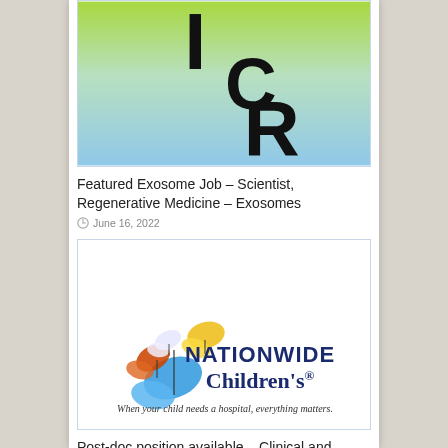[Figure (logo): ICR logo — green-to-blue gradient background with large black letters I, C, R]
Featured Exosome Job – Scientist, Regenerative Medicine – Exosomes
June 16, 2022
[Figure (logo): Nationwide Children's Hospital logo with colorful butterflies and tagline: When your child needs a hospital, everything matters.]
Post-doc position available – Clinical and Translational Research